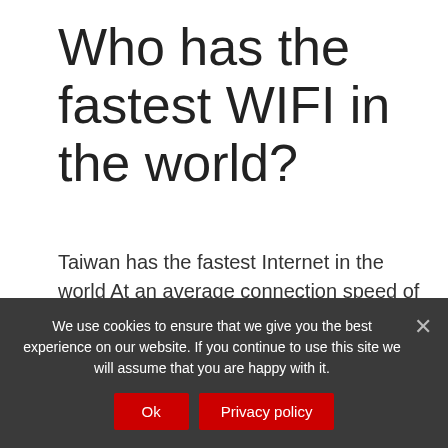Who has the fastest WIFI in the world?
Taiwan has the fastest Internet in the world At an average connection speed of 85.02 Megabits per second (Mbps), Taiwan has the fastest Internet speed in the world.
Does Japan has 7g?
Is Japan using 7g? Japan is one of the several
We use cookies to ensure that we give you the best experience on our website. If you continue to use this site we will assume that you are happy with it.